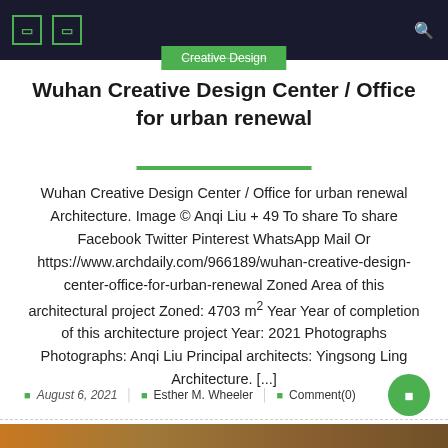Creative Design
Wuhan Creative Design Center / Office for urban renewal
Wuhan Creative Design Center / Office for urban renewal Architecture. Image © Anqi Liu + 49 To share To share Facebook Twitter Pinterest WhatsApp Mail Or https://www.archdaily.com/966189/wuhan-creative-design-center-office-for-urban-renewal Zoned Area of this architectural project Zoned: 4703 m² Year Year of completion of this architecture project Year: 2021 Photographs Photographs: Anqi Liu Principal architects: Yingsong Ling Architecture. [...]
August 6, 2021  Esther M. Wheeler  Comment(0)